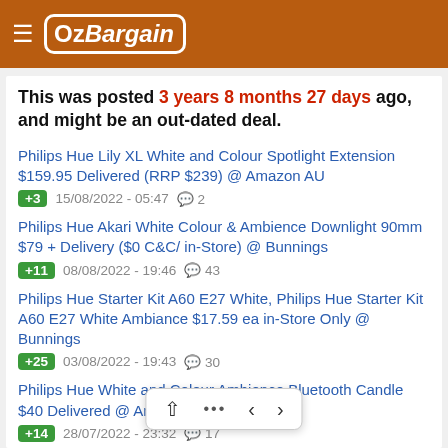OzBargain
This was posted 3 years 8 months 27 days ago, and might be an out-dated deal.
Philips Hue Lily XL White and Colour Spotlight Extension $159.95 Delivered (RRP $239) @ Amazon AU | +3 | 15/08/2022 - 05:47 | 2 comments
Philips Hue Akari White Colour & Ambience Downlight 90mm $79 + Delivery ($0 C&C/ in-Store) @ Bunnings | +11 | 08/08/2022 - 19:46 | 43 comments
Philips Hue Starter Kit A60 E27 White, Philips Hue Starter Kit A60 E27 White Ambiance $17.59 ea in-Store Only @ Bunnings | +25 | 03/08/2022 - 19:43 | 30 comments
Philips Hue White and Colour Ambience Bluetooth Candle $40 Delivered @ Amazon AU | +14 | 28/07/2022 - 23:32 | 17 comments
Philips Hue Go 2.0 W... liance Smart Portable Light $109.95 Delivered @ Amazon